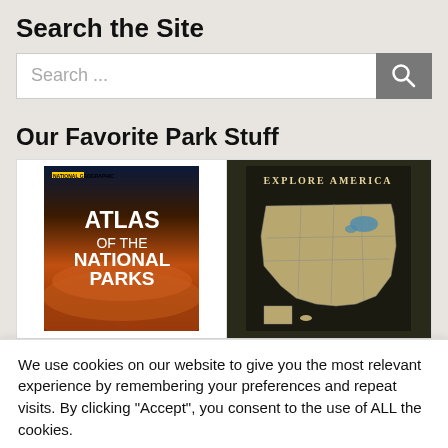Search the Site
[Figure (screenshot): Search input bar with placeholder text 'Search ...' and a dark grey search button with magnifying glass icon]
Our Favorite Park Stuff
[Figure (photo): Two product images side by side: left shows 'Atlas of the National Parks' book cover with orange canyon background; right shows 'Explore America' map of the United States]
We use cookies on our website to give you the most relevant experience by remembering your preferences and repeat visits. By clicking “Accept”, you consent to the use of ALL the cookies.
Do not sell my personal information.
Cookie Settings   Accept